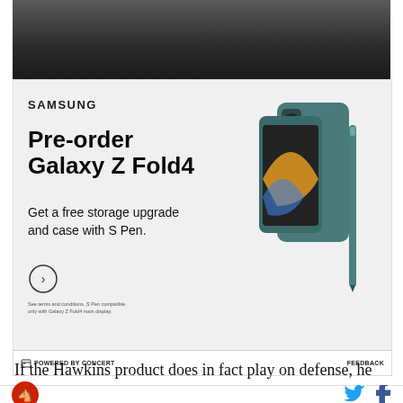[Figure (photo): Top portion of a photo showing a person, cropped at the top of the page]
[Figure (illustration): Samsung advertisement for Galaxy Z Fold4 pre-order. Shows Samsung logo, 'Pre-order Galaxy Z Fold4' headline, 'Get a free storage upgrade and case with S Pen.' offer text, a circular arrow button, fine print, and an image of the teal Galaxy Z Fold4 phone with S Pen.]
⊟ POWERED BY CONCERT
FEEDBACK
If the Hawkins product does in fact play on defense, he
[Figure (logo): Sports team logo — circular red logo with horse]
[Figure (logo): Twitter bird icon (blue) and Facebook f icon (dark)]